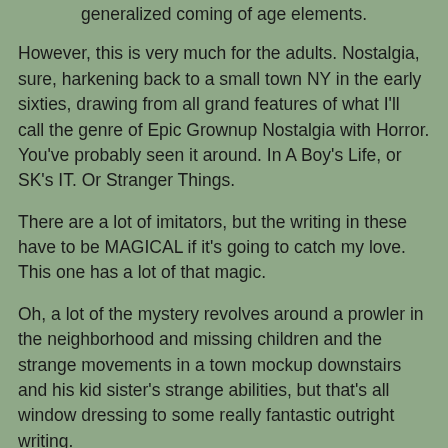generalized coming of age elements.
However, this is very much for the adults. Nostalgia, sure, harkening back to a small town NY in the early sixties, drawing from all grand features of what I'll call the genre of Epic Grownup Nostalgia with Horror. You've probably seen it around. In A Boy's Life, or SK's IT. Or Stranger Things.
There are a lot of imitators, but the writing in these have to be MAGICAL if it's going to catch my love. This one has a lot of that magic.
Oh, a lot of the mystery revolves around a prowler in the neighborhood and missing children and the strange movements in a town mockup downstairs and his kid sister's strange abilities, but that's all window dressing to some really fantastic outright writing.
I definitely recommend this for you nostalgia fans or younger folk who are curious about what life might have been like, once upon a time, when it was NORMAL to go out with your friends all day long in the neighborhood without supervision.